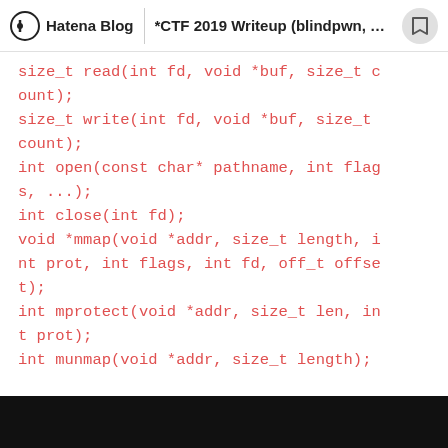Hatena Blog | *CTF 2019 Writeup (blindpwn, heap...
size_t read(int fd, void *buf, size_t count);
size_t write(int fd, void *buf, size_t count);
int open(const char* pathname, int flags, ...);
int close(int fd);
void *mmap(void *addr, size_t length, int prot, int flags, int fd, off_t offset);
int mprotect(void *addr, size_t len, int prot);
int munmap(void *addr, size_t length);